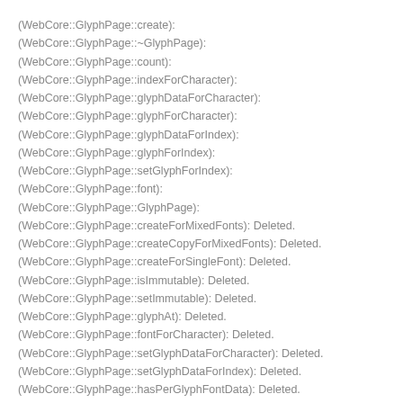(WebCore::GlyphPage::create):
(WebCore::GlyphPage::~GlyphPage):
(WebCore::GlyphPage::count):
(WebCore::GlyphPage::indexForCharacter):
(WebCore::GlyphPage::glyphDataForCharacter):
(WebCore::GlyphPage::glyphForCharacter):
(WebCore::GlyphPage::glyphDataForIndex):
(WebCore::GlyphPage::glyphForIndex):
(WebCore::GlyphPage::setGlyphForIndex):
(WebCore::GlyphPage::font):
(WebCore::GlyphPage::GlyphPage):
(WebCore::GlyphPage::createForMixedFonts): Deleted.
(WebCore::GlyphPage::createCopyForMixedFonts): Deleted.
(WebCore::GlyphPage::createForSingleFont): Deleted.
(WebCore::GlyphPage::isImmutable): Deleted.
(WebCore::GlyphPage::setImmutable): Deleted.
(WebCore::GlyphPage::glyphAt): Deleted.
(WebCore::GlyphPage::fontForCharacter): Deleted.
(WebCore::GlyphPage::setGlyphDataForCharacter): Deleted.
(WebCore::GlyphPage::setGlyphDataForIndex): Deleted.
(WebCore::GlyphPage::hasPerGlyphFontData): Deleted.
platform/graphics/freetype/GlyphPageTreeNodeFreeType.cpp:
(WebCore::GlyphPage::fill):
platform/graphics/mac/GlyphPageMac.cpp: